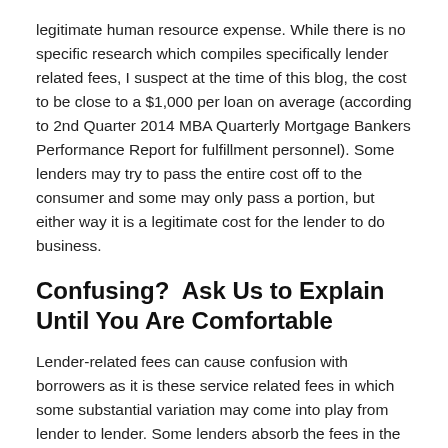legitimate human resource expense. While there is no specific research which compiles specifically lender related fees, I suspect at the time of this blog, the cost to be close to a $1,000 per loan on average (according to 2nd Quarter 2014 MBA Quarterly Mortgage Bankers Performance Report for fulfillment personnel). Some lenders may try to pass the entire cost off to the consumer and some may only pass a portion, but either way it is a legitimate cost for the lender to do business.
Confusing?  Ask Us to Explain Until You Are Comfortable
Lender-related fees can cause confusion with borrowers as it is these service related fees in which some substantial variation may come into play from lender to lender. Some lenders absorb the fees in the rate quote